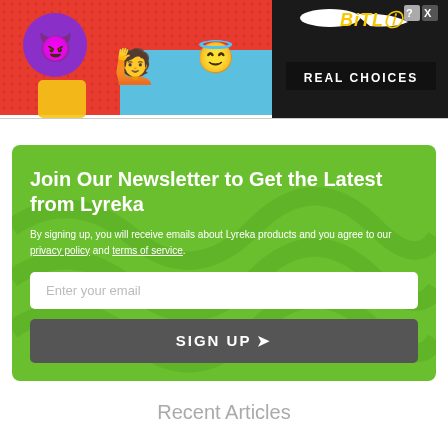[Figure (photo): BitLife advertisement banner with emoji characters (devil emoji, person emoji, angel emoji) on red background, with BitLife logo and 'REAL CHOICES' text on dark right side, and cyan/blue background at bottom.]
Join Our Newsletter to Get the Latest from Lyreka
By signing up, you will receive emails about Lyreka products and you agree to our privacy policy and terms of service.
Enter your email
SIGN UP
Recent Articles